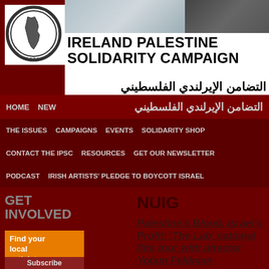[Figure (logo): IPSC circular logo with map of Palestine, labeled i.p.s.c. at bottom]
[Figure (photo): Header photos — fence/barrier and person making peace sign]
IRELAND PALESTINE SOLIDARITY CAMPAIGN
التضامن الإيرلندي الفلسطيني
HOME  NEWS  THE ISSUES  CAMPAIGNS  EVENTS  SOLIDARITY SHOP  CONTACT THE IPSC  RESOURCES  GET OUR NEWSLETTER  PODCAST  IRISH ARTISTS' PLEDGE TO BOYCOTT ISRAEL
GET INVOLVED
NUIG
Find your local activist group →
Subscribe
Palestine's Blood, Israel's Profit: 'The Lab' national film tour with director Yotam Feldman